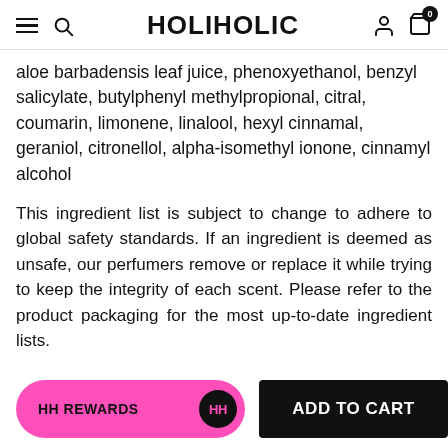HOLIHOLIC
aloe barbadensis leaf juice, phenoxyethanol, benzyl salicylate, butylphenyl methylpropional, citral, coumarin, limonene, linalool, hexyl cinnamal, geraniol, citronellol, alpha-isomethyl ionone, cinnamyl alcohol
This ingredient list is subject to change to adhere to global safety standards. If an ingredient is deemed as unsafe, our perfumers remove or replace it while trying to keep the integrity of each scent. Please refer to the product packaging for the most up-to-date ingredient lists.